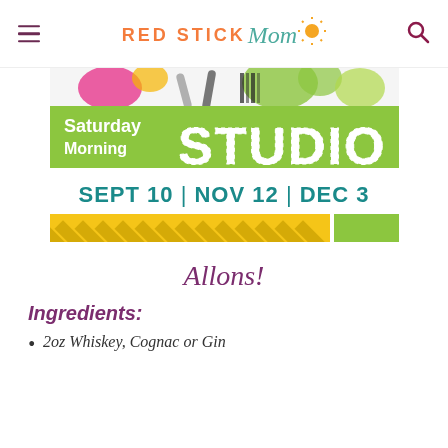RED STICK Mom
[Figure (illustration): Saturday Morning STUDIO event banner with colorful art supplies on green background]
SEPT 10 | NOV 12 | DEC 3
[Figure (illustration): Decorative stripe bar with yellow diagonal stripes and green rectangle]
Allons!
Ingredients:
2oz Whiskey, Cognac or Gin